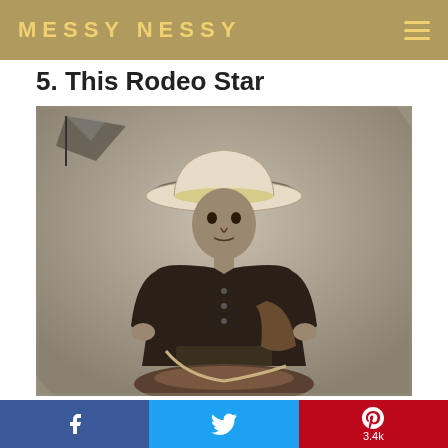MESSY NESSY
5. This Rodeo Star
[Figure (photo): Black and white vintage photograph of a young man in cowboy attire — wide-brimmed hat, dark jacket with buttons, chaps, and rope — posing with a saddle. A small pennant flag is visible in the upper left corner of the photo. Sepia-toned studio portrait.]
Facebook share | Twitter share | Pinterest 3.4k